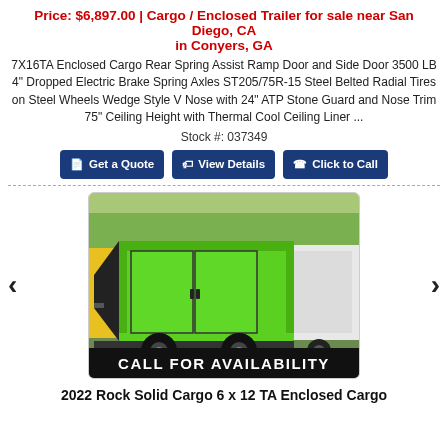Price: $6,897.00 | Cargo / Enclosed Trailer for sale near San Diego, CA in Conyers, GA
7X16TA Enclosed Cargo Rear Spring Assist Ramp Door and Side Door 3500 LB 4" Dropped Electric Brake Spring Axles ST205/75R-15 Steel Belted Radial Tires on Steel Wheels Wedge Style V Nose with 24" ATP Stone Guard and Nose Trim 75" Ceiling Height with Thermal Cool Ceiling Liner ...
Stock #: 037349
[Figure (screenshot): Green enclosed cargo trailer with black trim and wheels, parked outdoors. A white trailer is partially visible on the right. A black banner reads CALL FOR AVAILABILITY in white bold text.]
2022 Rock Solid Cargo 6 x 12 TA Enclosed Cargo